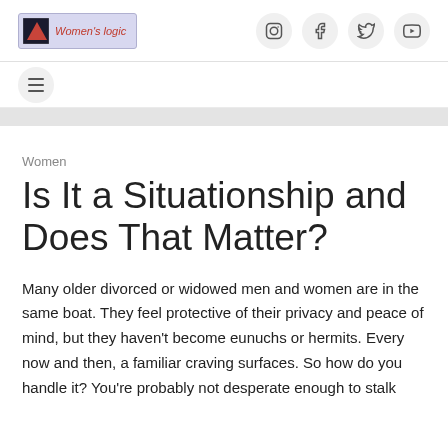Women's logic
Women
Is It a Situationship and Does That Matter?
Many older divorced or widowed men and women are in the same boat. They feel protective of their privacy and peace of mind, but they haven't become eunuchs or hermits. Every now and then, a familiar craving surfaces. So how do you handle it? You're probably not desperate enough to stalk